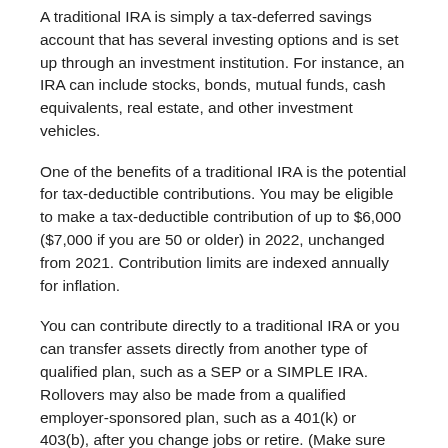A traditional IRA is simply a tax-deferred savings account that has several investing options and is set up through an investment institution. For instance, an IRA can include stocks, bonds, mutual funds, cash equivalents, real estate, and other investment vehicles.
One of the benefits of a traditional IRA is the potential for tax-deductible contributions. You may be eligible to make a tax-deductible contribution of up to $6,000 ($7,000 if you are 50 or older) in 2022, unchanged from 2021. Contribution limits are indexed annually for inflation.
You can contribute directly to a traditional IRA or you can transfer assets directly from another type of qualified plan, such as a SEP or a SIMPLE IRA. Rollovers may also be made from a qualified employer-sponsored plan, such as a 401(k) or 403(b), after you change jobs or retire. (Make sure you understand the pros and cons of rolling funds from